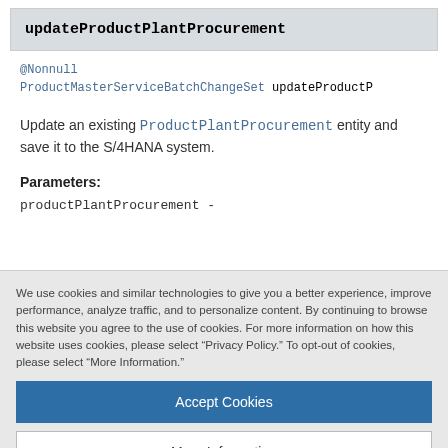updateProductPlantProcurement
@Nonnull
ProductMasterServiceBatchChangeSet updateProductP...
Update an existing ProductPlantProcurement entity and save it to the S/4HANA system.
Parameters:
productPlantProcurement -
We use cookies and similar technologies to give you a better experience, improve performance, analyze traffic, and to personalize content. By continuing to browse this website you agree to the use of cookies. For more information on how this website uses cookies, please select “Privacy Policy.” To opt-out of cookies, please select “More Information.”
Accept Cookies
More Information
Privacy Policy | Powered by: TrustArc